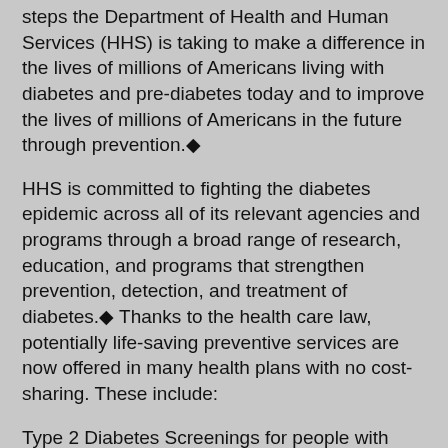steps the Department of Health and Human Services (HHS) is taking to make a difference in the lives of millions of Americans living with diabetes and pre-diabetes today and to improve the lives of millions of Americans in the future through prevention.◆
HHS is committed to fighting the diabetes epidemic across all of its relevant agencies and programs through a broad range of research, education, and programs that strengthen prevention, detection, and treatment of diabetes.◆ Thanks to the health care law, potentially life-saving preventive services are now offered in many health plans with no cost-sharing. These include:
Type 2 Diabetes Screenings for people with high blood pressure,Diet Counseling for people with known risk factors for cardiovascular and diet-related chronic disease, andBlood Pressure Screenings.
In addition, the Affordable Care Act expanded◆ CDC◆s National Diabetes Prevention Program, a public-private partnership of community organizations, private insurers, employers, health care organizations, and government